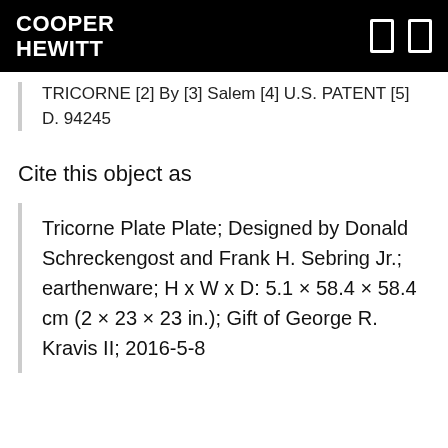COOPER HEWITT
TRICORNE [2] By [3] Salem [4] U.S. PATENT [5] D. 94245
Cite this object as
Tricorne Plate Plate; Designed by Donald Schreckengost and Frank H. Sebring Jr.; earthenware; H x W x D: 5.1 × 58.4 × 58.4 cm (2 × 23 × 23 in.); Gift of George R. Kravis II; 2016-5-8